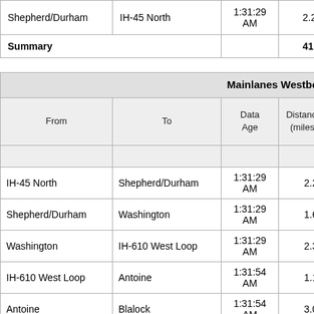| From | To | Data Age | Distance (miles) | Link Travel Time(m:s) |
| --- | --- | --- | --- | --- |
| Shepherd/Durham | IH-45 North | 1:31:29 AM | 2.20 | 2: |
| Summary |  |  | 41.1 | 33: |
| From | To | Data Age | Distance (miles) | Link Travel Time(m:s) |
| --- | --- | --- | --- | --- |
| IH-45 North | Shepherd/Durham | 1:31:29 AM | 2.20 | 2: |
| Shepherd/Durham | Washington | 1:31:29 AM | 1.60 | 1: |
| Washington | IH-610 West Loop | 1:31:29 AM | 2.30 | 2: |
| IH-610 West Loop | Antoine | 1:31:54 AM | 1.10 | 00: |
| Antoine | Blalock | 1:31:54 AM | 3.00 | 2: |